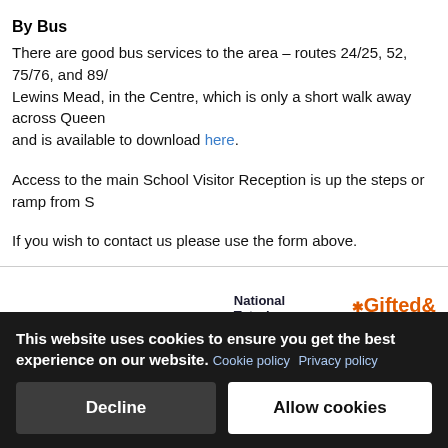By Bus
There are good bus services to the area – routes 24/25, 52, 75/76, and 89/A all stop at Lewins Mead, in the Centre, which is only a short walk away across Queen Square. A bus map and is available to download here.
Access to the main School Visitor Reception is up the steps or ramp from S
If you wish to contact us please use the form above.
login
[Figure (logo): National Tutoring Programme logo with orange chevron arrow and text 'We're an NTP School']
[Figure (logo): Gifted & Talented Lead School logo in orange bold text]
This website uses cookies to ensure you get the best experience on our website. Cookie policy  Privacy policy
Decline
Allow cookies